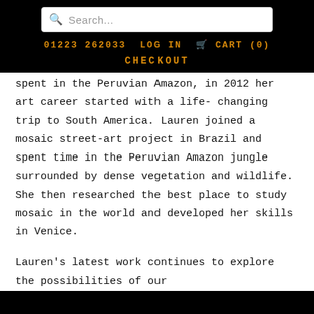Search... | 01223 262033 | LOG IN | CART (0) | CHECKOUT
spent in the Peruvian Amazon, in 2012 her art career started with a life-changing trip to South America. Lauren joined a mosaic street-art project in Brazil and spent time in the Peruvian Amazon jungle surrounded by dense vegetation and wildlife. She then researched the best place to study mosaic in the world and developed her skills in Venice.
Lauren's latest work continues to explore the possibilities of our